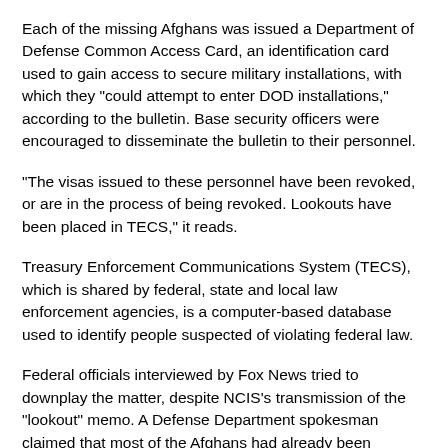Each of the missing Afghans was issued a Department of Defense Common Access Card, an identification card used to gain access to secure military installations, with which they "could attempt to enter DOD installations," according to the bulletin. Base security officers were encouraged to disseminate the bulletin to their personnel.
"The visas issued to these personnel have been revoked, or are in the process of being revoked. Lookouts have been placed in TECS," it reads.
Treasury Enforcement Communications System (TECS), which is shared by federal, state and local law enforcement agencies, is a computer-based database used to identify people suspected of violating federal law.
Federal officials interviewed by Fox News tried to downplay the matter, despite NCIS's transmission of the "lookout" memo. A Defense Department spokesman claimed that most of the Afghans had already been accounted for; a law enforcement source described the issue as "more of an immigration problem" than a security risk, despite the Afghan's ability to access military installation, and stopped